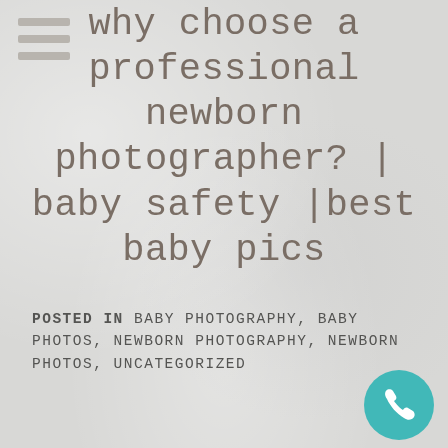why choose a professional newborn photographer? | baby safety | best baby pics
POSTED IN BABY PHOTOGRAPHY, BABY PHOTOS, NEWBORN PHOTOGRAPHY, NEWBORN PHOTOS, UNCATEGORIZED
[Figure (other): Teal/turquoise circular phone call button in bottom right corner]